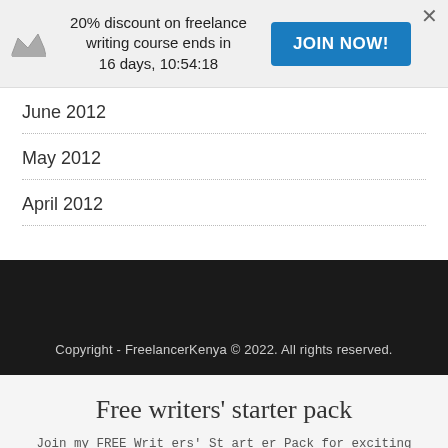20% discount on freelance writing course ends in 16 days, 10:54:18 JOIN NOW!
June 2012
May 2012
April 2012
Copyright - FreelancerKenya © 2022. All rights reserved.
Free writers' starter pack
Join my FREE Writers' Starter Pack for exciting essentials for